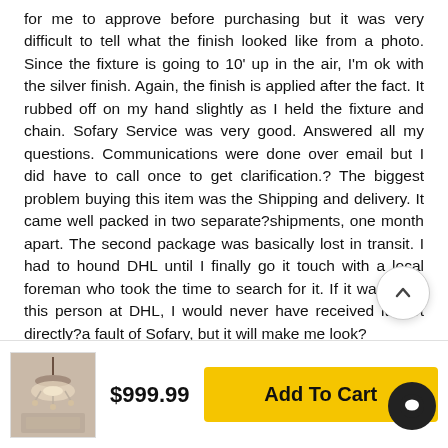for me to approve before purchasing but it was very difficult to tell what the finish looked like from a photo. Since the fixture is going to 10' up in the air, I'm ok with the silver finish. Again, the finish is applied after the fact. It rubbed off on my hand slightly as I held the fixture and chain. Sofary Service was very good. Answered all my questions. Communications were done over email but I did have to call once to get clarification.? The biggest problem buying this item was the Shipping and delivery. It came well packed in two separate?shipments, one month apart. The second package was basically lost in transit. I had to hound DHL until I finally go it touch with a local foreman who took the time to search for it. If it wasn't for this person at DHL, I would never have received it. Not directly?a fault of Sofary, but it will make me look?
[Figure (photo): Product thumbnail showing a chandelier in a room setting]
$999.99
Add To Cart